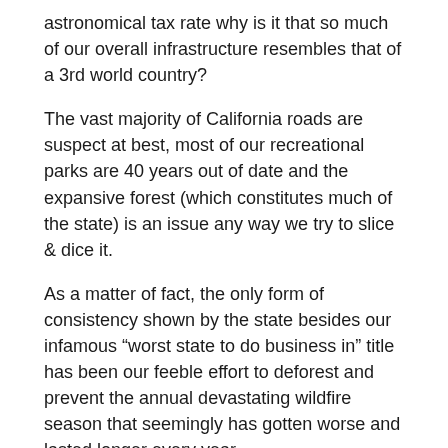astronomical tax rate why is it that so much of our overall infrastructure resembles that of a 3rd world country?
The vast majority of California roads are suspect at best, most of our recreational parks are 40 years out of date and the expansive forest (which constitutes much of the state) is an issue any way we try to slice & dice it.
As a matter of fact, the only form of consistency shown by the state besides our infamous “worst state to do business in” title has been our feeble effort to deforest and prevent the annual devastating wildfire season that seemingly has gotten worse and lasted longer every year.
Ironically, these uncontrollable fires that kill way too many people and continue to leave thousands homeless each year have also polluted our air with so many toxins that they inevitably do way more harm to our environment than strategic and moderate deforestation ever would.